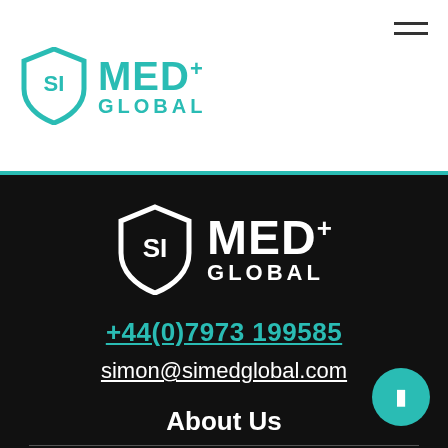[Figure (logo): SI MED+ GLOBAL logo in teal color with shield icon, in the header navigation bar]
[Figure (logo): SI MED+ GLOBAL logo in white color with shield icon, in the footer section]
+44(0)7973 199585
simon@simedglobal.com
About Us